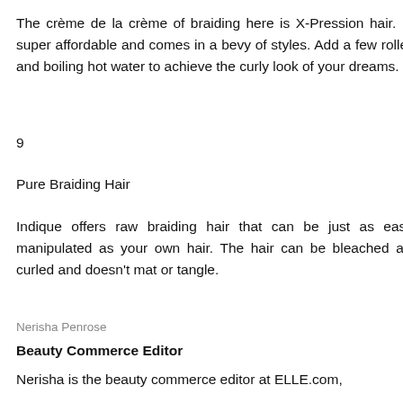The crème de la crème of braiding here is X-Pression hair. It's super affordable and comes in a bevy of styles. Add a few rollers and boiling hot water to achieve the curly look of your dreams.
9
Pure Braiding Hair
Indique offers raw braiding hair that can be just as easily manipulated as your own hair. The hair can be bleached and curled and doesn't mat or tangle.
Nerisha Penrose
Beauty Commerce Editor
Nerisha is the beauty commerce editor at ELLE.com,